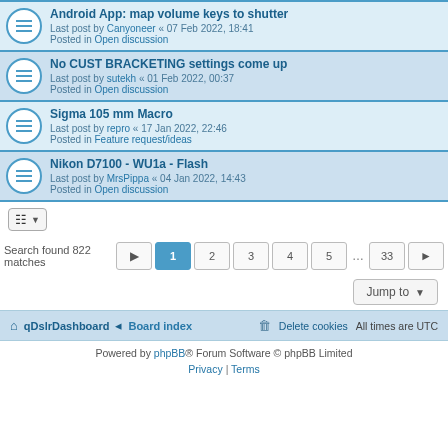Android App: map volume keys to shutter
Last post by Canyoneer « 07 Feb 2022, 18:41
Posted in Open discussion
No CUST BRACKETING settings come up
Last post by sutekh « 01 Feb 2022, 00:37
Posted in Open discussion
Sigma 105 mm Macro
Last post by repro « 17 Jan 2022, 22:46
Posted in Feature request/ideas
Nikon D7100 - WU1a - Flash
Last post by MrsPippa « 04 Jan 2022, 14:43
Posted in Open discussion
Search found 822 matches
Jump to
qDslrDashboard · Board index   Delete cookies   All times are UTC
Powered by phpBB® Forum Software © phpBB Limited
Privacy | Terms